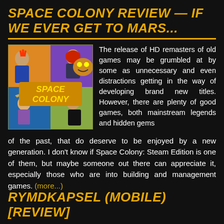SPACE COLONY REVIEW — IF WE EVER GET TO MARS...
[Figure (illustration): Space Colony game box art showing colorful animated characters (a man with a mohawk, a woman with red hair, a man with glasses, a cowboy) and a monster in a comic book style, with bright purple, orange, and blue background. The text 'SPACE COLONY' is displayed prominently in yellow.]
The release of HD remasters of old games may be grumbled at by some as unnecessary and even distractions getting in the way of developing brand new titles. However, there are plenty of good games, both mainstream legends and hidden gems of the past, that do deserve to be enjoyed by a new generation. I don't know if Space Colony: Steam Edition is one of them, but maybe someone out there can appreciate it, especially those who are into building and management games. (more...)
RYMDKAPSEL (MOBILE) [REVIEW]